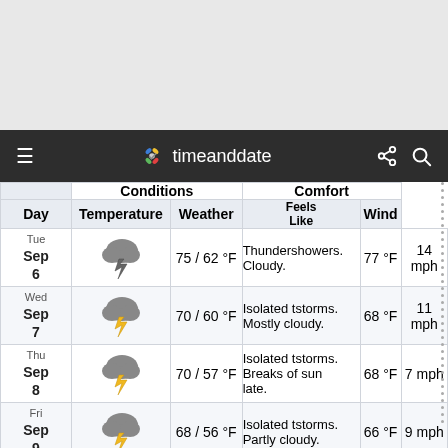[Figure (screenshot): timeanddate.com navigation bar with hamburger menu, logo, share and search icons on dark background]
| ['Day', 'Conditions', '', 'Comfort', ''] | ['Day', 'Temperature', 'Weather', 'Feels Like', 'Wind'] |
| --- | --- |
| Tue Sep 6 | 75 / 62 °F | Thundershowers. Cloudy. | 77 °F | 14 mph |
| Wed Sep 7 | 70 / 60 °F | Isolated tstorms. Mostly cloudy. | 68 °F | 11 mph |
| Thu Sep 8 | 70 / 57 °F | Isolated tstorms. Breaks of sun late. | 68 °F | 7 mph |
| Fri Sep 9 | 68 / 56 °F | Isolated tstorms. Partly cloudy. | 66 °F | 9 mph |